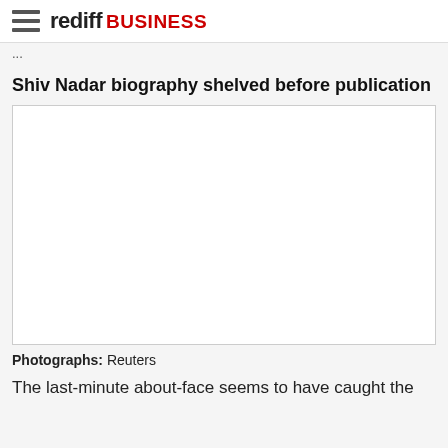rediff BUSINESS
...
Shiv Nadar biography shelved before publication
[Figure (photo): Large blank/white image placeholder with border]
Photographs: Reuters
The last-minute about-face seems to have caught the